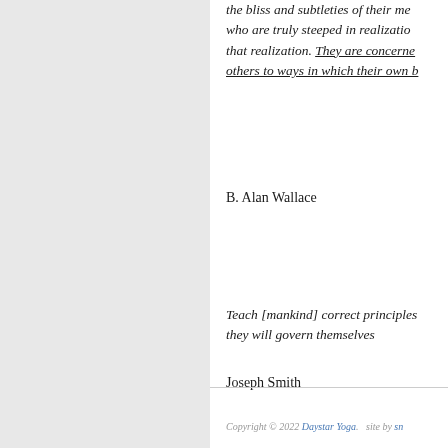the bliss and subtleties of their me... who are truly steeped in realization... that realization. They are concerned others to ways in which their own b...
B. Alan Wallace
Teach [mankind] correct principles they will govern themselves
Joseph Smith
Copyright © 2022 Daystar Yoga.   site by sn...